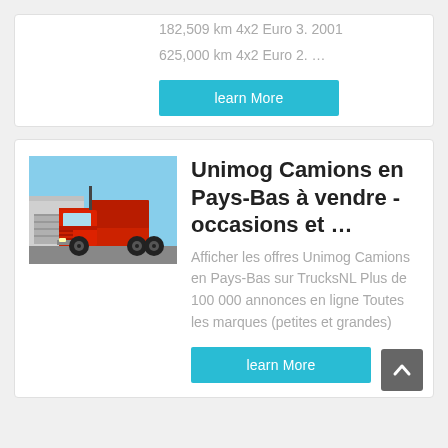182,509 km 4x2 Euro 3. 2001
625,000 km 4x2 Euro 2. …
learn More
[Figure (photo): Red Unimog truck parked in front of a building with a blue sky background]
Unimog Camions en Pays-Bas à vendre - occasions et …
Afficher les offres Unimog Camions en Pays-Bas sur TrucksNL Plus de 100 000 annonces en ligne Toutes les marques (petites et grandes)
learn More